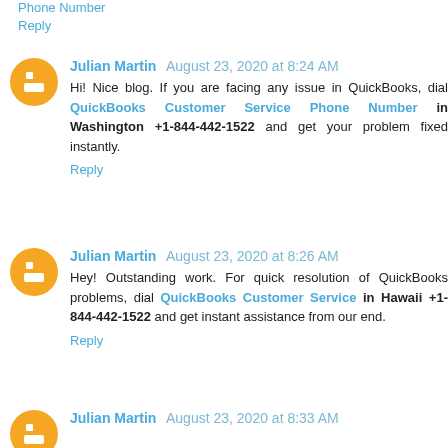Phone Number
Reply
Julian Martin August 23, 2020 at 8:24 AM
Hi! Nice blog. If you are facing any issue in QuickBooks, dial QuickBooks Customer Service Phone Number in Washington +1-844-442-1522 and get your problem fixed instantly.
Reply
Julian Martin August 23, 2020 at 8:26 AM
Hey! Outstanding work. For quick resolution of QuickBooks problems, dial QuickBooks Customer Service in Hawaii +1-844-442-1522 and get instant assistance from our end.
Reply
Julian Martin August 23, 2020 at 8:33 AM